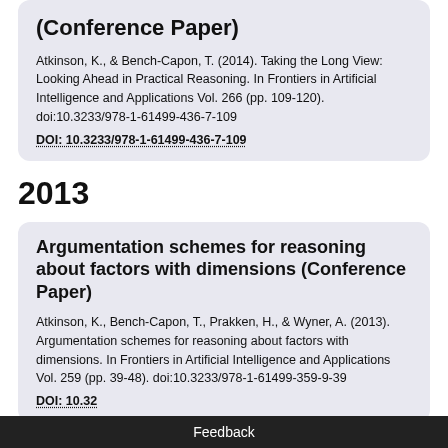(Conference Paper)
Atkinson, K., & Bench-Capon, T. (2014). Taking the Long View: Looking Ahead in Practical Reasoning. In Frontiers in Artificial Intelligence and Applications Vol. 266 (pp. 109-120). doi:10.3233/978-1-61499-436-7-109
DOI: 10.3233/978-1-61499-436-7-109
2013
Argumentation schemes for reasoning about factors with dimensions (Conference Paper)
Atkinson, K., Bench-Capon, T., Prakken, H., & Wyner, A. (2013). Argumentation schemes for reasoning about factors with dimensions. In Frontiers in Artificial Intelligence and Applications Vol. 259 (pp. 39-48). doi:10.3233/978-1-61499-359-9-39
DOI: 10.3233/978-1-61499-359-9-39